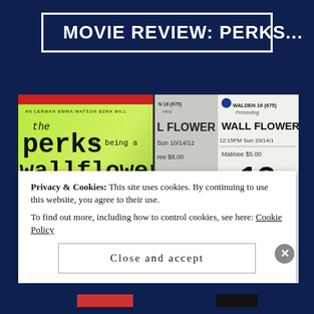MOVIE REVIEW: PERKS...
[Figure (photo): Photo showing The Perks of Being a Wallflower movie poster (green background, featuring the title in typewriter font, actors Logan Lerman, Emma Watson, Ezra Miller listed at top) alongside two movie ticket stubs from WALDEN 16 (675), presenting WALL FLOWER, 12:15PM Sun 10/14/12, Matinee $8.00/$5.00, Auditorium 13.]
Privacy & Cookies: This site uses cookies. By continuing to use this website, you agree to their use.
To find out more, including how to control cookies, see here: Cookie Policy
Close and accept